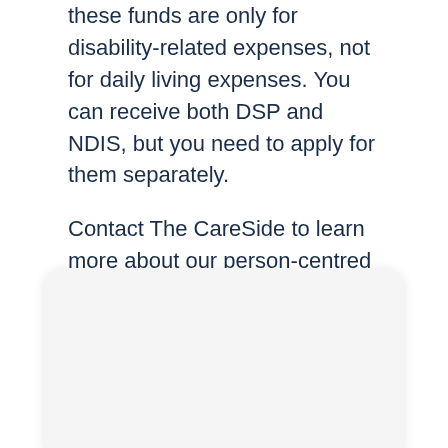these funds are only for disability-related expenses, not for daily living expenses. You can receive both DSP and NDIS, but you need to apply for them separately.
Contact The CareSide to learn more about our person-centred disability support services.
[Figure (other): A rounded card/panel element with light gray background, partially visible at the bottom of the page.]